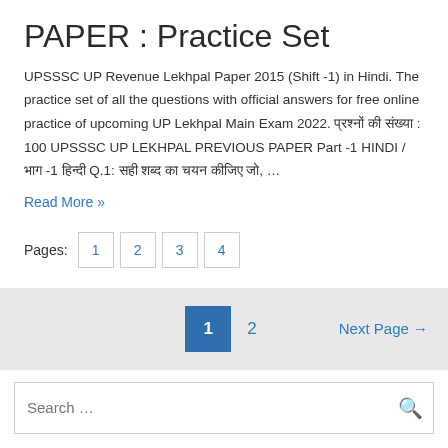PAPER : Practice Set
UPSSSC UP Revenue Lekhpal Paper 2015 (Shift -1) in Hindi. The practice set of all the questions with official answers for free online practice of upcoming UP Lekhpal Main Exam 2022. प्रश्नों की संख्या : 100 UPSSSC UP LEKHPAL PREVIOUS PAPER Part -1 HINDI / भाग -1 हिन्दी Q.1: सही शब्द का चयन कीजिए जो, …
Read More »
Pages:  1  2  3  4
1  2  Next Page →
Search …